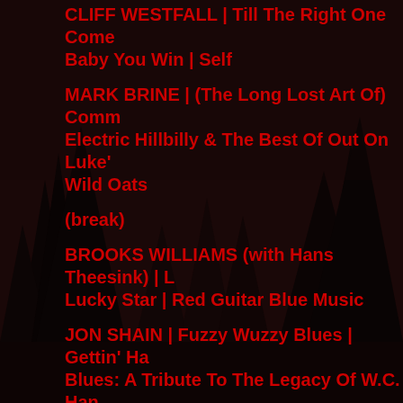CLIFF WESTFALL | Till The Right One Come Baby You Win | Self
MARK BRINE | (The Long Lost Art Of) Comm Electric Hillbilly & The Best Of Out On Luke' Wild Oats
(break)
BROOKS WILLIAMS (with Hans Theesink) | Lucky Star | Red Guitar Blue Music
JON SHAIN | Fuzzy Wuzzy Blues | Gettin' Ha Blues: A Tribute To The Legacy Of W.C. Han
YARD SALE | Highest Mountain | Every Day